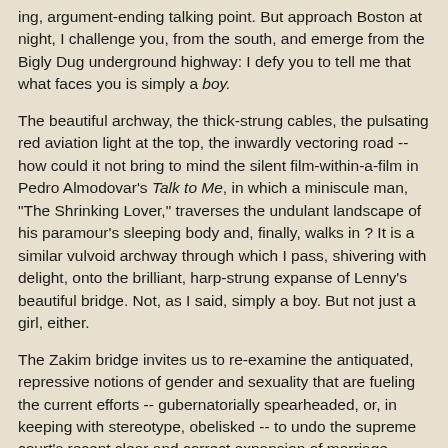ing, argument-ending talking point. But approach Boston at night, I challenge you, from the south, and emerge from the Bigly Dug underground highway: I defy you to tell me that what faces you is simply a boy.
The beautiful archway, the thick-strung cables, the pulsating red aviation light at the top, the inwardly vectoring road -- how could it not bring to mind the silent film-within-a-film in Pedro Almodovar's Talk to Me, in which a miniscule man, "The Shrinking Lover," traverses the undulant landscape of his paramour's sleeping body and, finally, walks in ? It is a similar vulvoid archway through which I pass, shivering with delight, onto the brilliant, harp-strung expanse of Lenny's beautiful bridge. Not, as I said, simply a boy. But not just a girl, either.
The Zakim bridge invites us to re-examine the antiquated, repressive notions of gender and sexuality that are fueling the current efforts -- gubernatorially spearheaded, or, in keeping with stereotype, obelisked -- to undo the supreme court's recent clear and correct expansion of marriage rights to include all citizens.